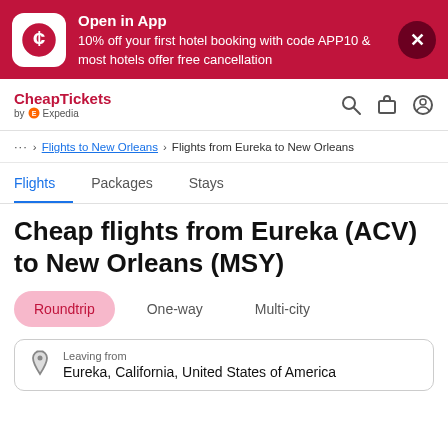[Figure (screenshot): CheapTickets app promotional banner with logo, text offering 10% off hotel booking with code APP10, and close button]
CheapTickets by Expedia
... > Flights to New Orleans > Flights from Eureka to New Orleans
Flights   Packages   Stays
Cheap flights from Eureka (ACV) to New Orleans (MSY)
Roundtrip   One-way   Multi-city
Leaving from
Eureka, California, United States of America